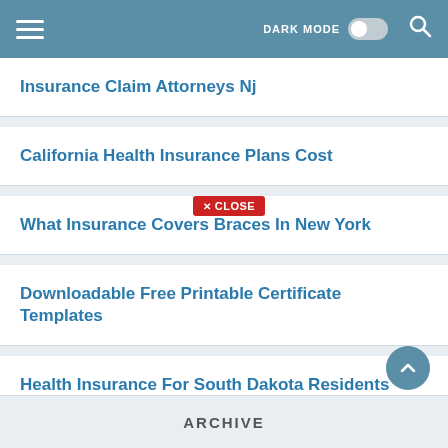DARK MODE [toggle] [search]
Insurance Claim Attorneys Nj
California Health Insurance Plans Cost
What Insurance Covers Braces In New York
Downloadable Free Printable Certificate Templates
Health Insurance For South Dakota Residents
United Life Insurance Near Me
Colonial Health Insurance Reviews
ARCHIVE